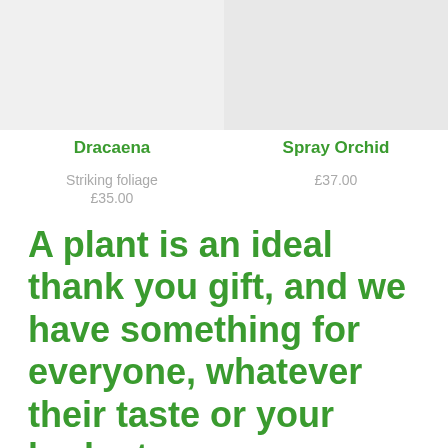Dracaena
Striking foliage
£35.00
Spray Orchid
£37.00
A plant is an ideal thank you gift, and we have something for everyone, whatever their taste or your budget.
Check out our selection of easy care houseplants, pretty, flowering planters and garden plants. Alternatively we have some stunning